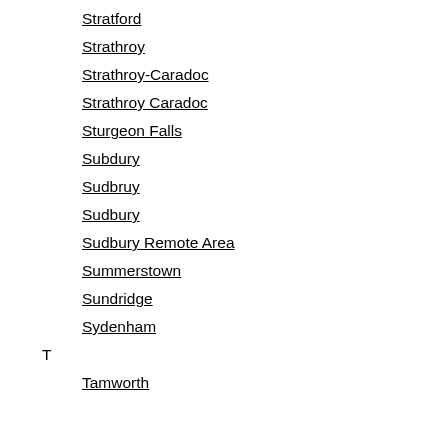Stoney Creek
Stratford
Strathroy
Strathroy-Caradoc
Strathroy Caradoc
Sturgeon Falls
Subdury
Sudbruy
Sudbury
Sudbury Remote Area
Summerstown
Sundridge
Sydenham
T
Tamworth